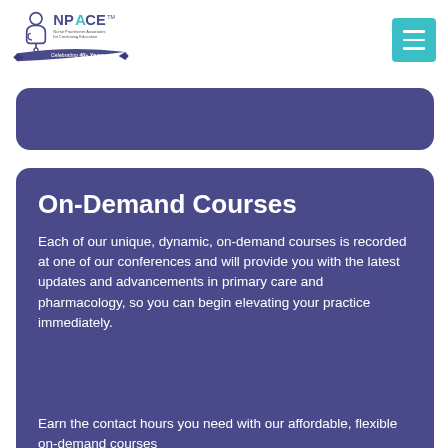[Figure (logo): NPACE logo — Nurse Practitioner Associates for Continuing Education, Celebrating 40+ Years]
[Figure (other): Hamburger menu button (teal/cyan square with three white horizontal lines)]
On-Demand Courses
Each of our unique, dynamic, on-demand courses is recorded at one of our conferences and will provide you with the latest updates and advancements in primary care and pharmacology, so you can begin elevating your practice immediately.
Earn the contact hours you need with our affordable, flexible on-demand courses